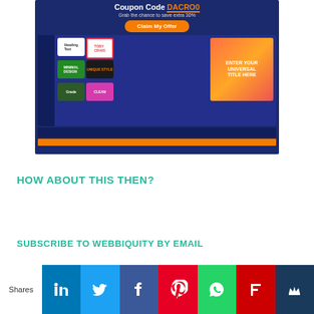[Figure (screenshot): Screenshot of a video editing application (InVideo/InClip) showing a dark blue interface with various title style options including 'Heading Text', 'TOBY CRAIG', 'MINIMAL DESIGN', 'UNIQUE STYLE', 'CLEAN', and a preview panel with 'ENTER YOUR UNIVERSAL TITLE HERE'. The screenshot is embedded within a promotional banner with a dark blue background showing 'Coupon Code DACRO0' text, 'Grab the chance to save extra 30%' subtitle, and an orange 'Claim My Offer' button.]
HOW ABOUT THIS THEN?
SUBSCRIBE TO WEBBIQUITY BY EMAIL
[Figure (infographic): Social sharing bar with 'Shares' label on the left, followed by colored social media icon buttons: LinkedIn (blue), Twitter (light blue), Facebook (dark blue), Pinterest (red), WhatsApp (green), Flipboard (red), and a royal blue crown icon.]